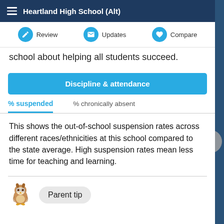Heartland High School (Alt)
Review   Updates   Compare
school about helping all students succeed.
Discipline & attendance
% suspended	% chronically absent
This shows the out-of-school suspension rates across different races/ethnicities at this school compared to the state average. High suspension rates mean less time for teaching and learning.
Parent tip